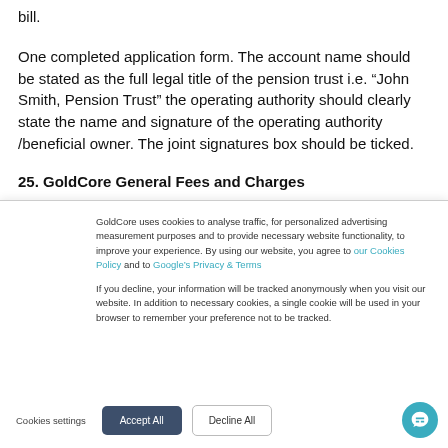bill.
One completed application form. The account name should be stated as the full legal title of the pension trust i.e. “John Smith, Pension Trust” the operating authority should clearly state the name and signature of the operating authority /beneficial owner. The joint signatures box should be ticked.
25. GoldCore General Fees and Charges
GoldCore uses cookies to analyse traffic, for personalized advertising measurement purposes and to provide necessary website functionality, to improve your experience. By using our website, you agree to our Cookies Policy and to Google’s Privacy & Terms
If you decline, your information will be tracked anonymously when you visit our website. In addition to necessary cookies, a single cookie will be used in your browser to remember your preference not to be tracked.